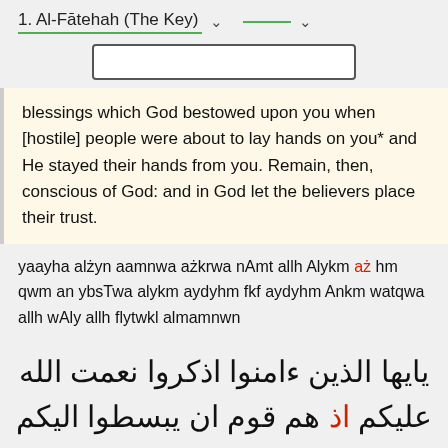1. Al-Fātehah (The Key)
blessings which God bestowed upon you when [hostile] people were about to lay hands on you* and He stayed their hands from you. Remain, then, conscious of God: and in God let the believers place their trust.
yaayha alżyn aamnwa ażkrwa nAmt allh Alykm aż hm qwm an ybsTwa alykm aydyhm fkf aydyhm Ankm watqwa allh wAly allh flytwkl almamnwn
يايها الذين ءامنوا اذكروا نعمت الله عليكم اذ هم قوم ان يبسطوا اليكم ايديهم فكف ايديهم عنكم واتقوا الله وعلى الله